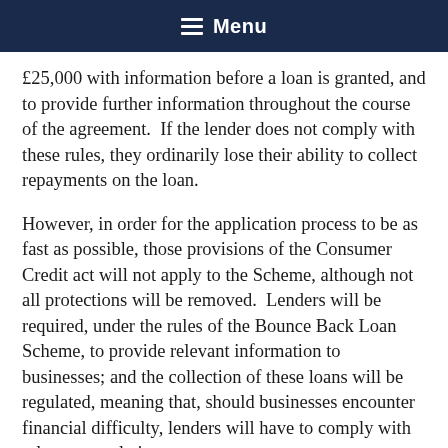Menu
£25,000 with information before a loan is granted, and to provide further information throughout the course of the agreement.  If the lender does not comply with these rules, they ordinarily lose their ability to collect repayments on the loan.
However, in order for the application process to be as fast as possible, those provisions of the Consumer Credit act will not apply to the Scheme, although not all protections will be removed.  Lenders will be required, under the rules of the Bounce Back Loan Scheme, to provide relevant information to businesses; and the collection of these loans will be regulated, meaning that, should businesses encounter financial difficulty, lenders will have to comply with relevant regulations.